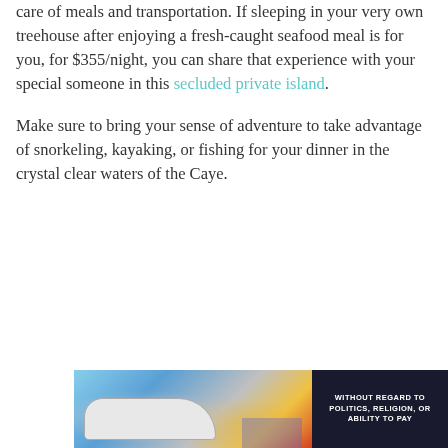care of meals and transportation. If sleeping in your very own treehouse after enjoying a fresh-caught seafood meal is for you, for $355/night, you can share that experience with your special someone in this secluded private island.
Make sure to bring your sense of adventure to take advantage of snorkeling, kayaking, or fishing for your dinner in the crystal clear waters of the Caye.
[Figure (photo): Advertisement banner showing an airplane being loaded with cargo, with a dark panel on the right reading WITHOUT REGARD TO POLITICS, RELIGION, OR ABILITY TO PAY]